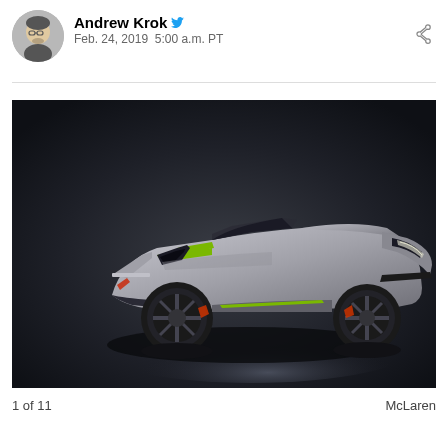Andrew Krok  Feb. 24, 2019  5:00 a.m. PT
[Figure (photo): McLaren 600LT Spider in matte silver/grey with green accents, photographed in a studio setting against a dark background with dramatic lighting, convertible/spider configuration with no roof, three-quarter front view]
1 of 11    McLaren